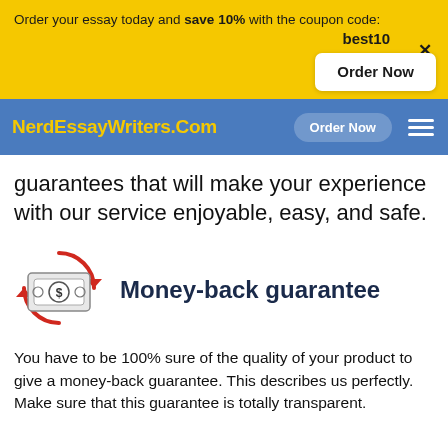Order your essay today and save 10% with the coupon code: best10
[Figure (screenshot): Order Now button in white rounded rectangle on yellow background]
NerdEssayWriters.Com  Order Now  ☰
guarantees that will make your experience with our service enjoyable, easy, and safe.
[Figure (illustration): Money-back guarantee icon: red circular arrows around a bill with dollar sign]
Money-back guarantee
You have to be 100% sure of the quality of your product to give a money-back guarantee. This describes us perfectly. Make sure that this guarantee is totally transparent.